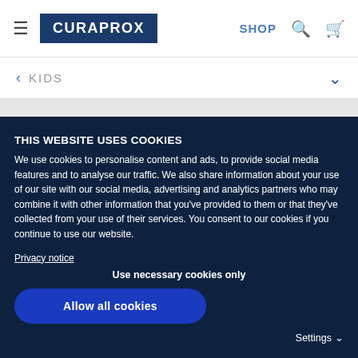CURAPROX — SHOP
< KIDS
THIS WEBSITE USES COOKIES
We use cookies to personalise content and ads, to provide social media features and to analyse our traffic. We also share information about your use of our site with our social media, advertising and analytics partners who may combine it with other information that you've provided to them or that they've collected from your use of their services. You consent to our cookies if you continue to use our website.
Privacy notice
Use necessary cookies only
Allow all cookies
Settings